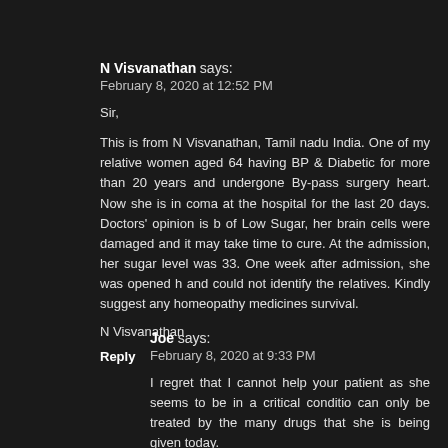N Visvanathan says:
February 8, 2020 at 12:52 PM
Sir,
This is from N Visvanathan, Tamil nadu India. One of my relative women aged 64 having BP & Diabetic for more than 20 years and undergone By-pass surgery heart. Now she is in coma at the hospital for the last 20 days. Doctors' opinion is b of Low Sugar, her brain cells were damaged and it may take time to cure. At the admission, her sugar level was 33. One week after admission, she was opened h and could not identify the relatives. Kindly suggest any homeopathy medicines survival.
N Visvanathan
Reply
Joe says:
February 8, 2020 at 9:33 PM
I regret that I cannot help your patient as she seems to be in a critical conditio can only be treated by the many drugs that she is being given today.
Reply